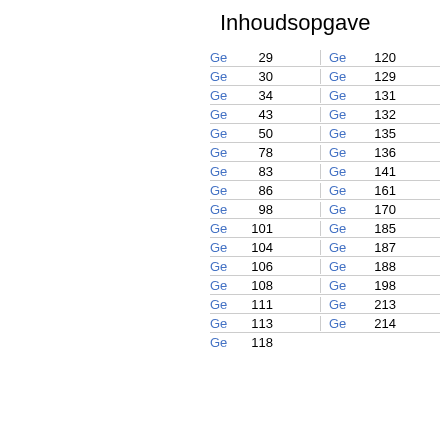Inhoudsopgave
| Link | Page | Link | Page |
| --- | --- | --- | --- |
| Ge | 29 | Ge | 120 |
| Ge | 30 | Ge | 129 |
| Ge | 34 | Ge | 131 |
| Ge | 43 | Ge | 132 |
| Ge | 50 | Ge | 135 |
| Ge | 78 | Ge | 136 |
| Ge | 83 | Ge | 141 |
| Ge | 86 | Ge | 161 |
| Ge | 98 | Ge | 170 |
| Ge | 101 | Ge | 185 |
| Ge | 104 | Ge | 187 |
| Ge | 106 | Ge | 188 |
| Ge | 108 | Ge | 198 |
| Ge | 111 | Ge | 213 |
| Ge | 113 | Ge | 214 |
| Ge | 118 |  |  |